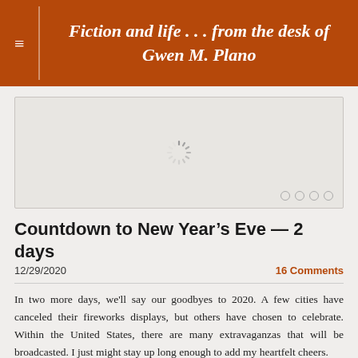Fiction and life . . . from the desk of Gwen M. Plano
[Figure (other): Loading spinner / image slider placeholder with four navigation dots at bottom right]
Countdown to New Year's Eve -- 2 days
12/29/2020
16 Comments
In two more days, we'll say our goodbyes to 2020. A few cities have canceled their fireworks displays, but others have chosen to celebrate. Within the United States, there are many extravaganzas that will be broadcasted. I just might stay up long enough to add my heartfelt cheers.
If you're like me and will be staying home for the celebrations,